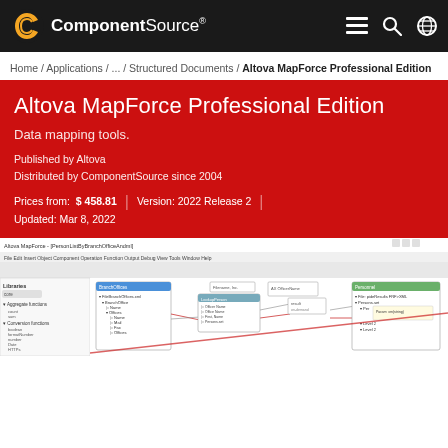ComponentSource navigation bar with logo, menu, search, and globe icons
Home / Applications / ... / Structured Documents / Altova MapForce Professional Edition
Altova MapForce Professional Edition
Data mapping tools.
Published by Altova
Distributed by ComponentSource since 2004
Prices from: $ 458.81  |  Version: 2022 Release 2  |  Updated: Mar 8, 2022
[Figure (screenshot): Screenshot of Altova MapForce application showing a data mapping diagram with various components connected by lines]